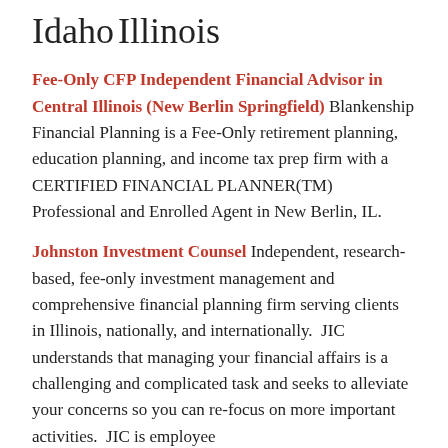Idaho
Illinois
Fee-Only CFP Independent Financial Advisor in Central Illinois (New Berlin Springfield) Blankenship Financial Planning is a Fee-Only retirement planning, education planning, and income tax prep firm with a CERTIFIED FINANCIAL PLANNER(TM) Professional and Enrolled Agent in New Berlin, IL.
Johnston Investment Counsel Independent, research-based, fee-only investment management and comprehensive financial planning firm serving clients in Illinois, nationally, and internationally.  JIC understands that managing your financial affairs is a challenging and complicated task and seeks to alleviate your concerns so you can re-focus on more important activities.  JIC is employee